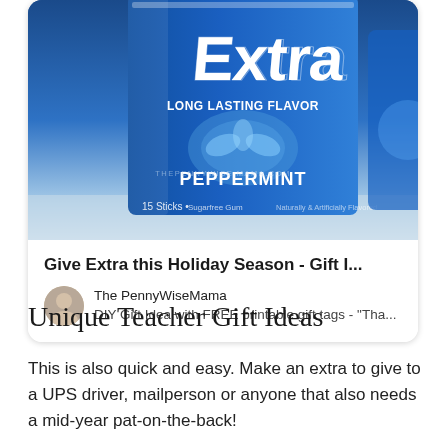[Figure (photo): Photo of Extra Peppermint gum package with text 'LONG LASTING FLAVOR' and 'PEPPERMINT', '15 Sticks', watermark THEPENNYWISE MAMA.COM]
Give Extra this Holiday Season - Gift I...
The PennyWiseMama
DIY Gift Idea with FREE printable gift tags - "Tha...
Unique Teacher Gift Ideas
This is also quick and easy. Make an extra to give to a UPS driver, mailperson or anyone that also needs a mid-year pat-on-the-back!